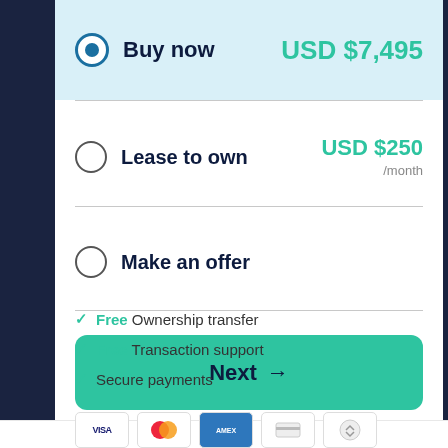Buy now — USD $7,495
Lease to own — USD $250 /month
Make an offer
Next →
✓ Free Ownership transfer
✓ Free Transaction support
✓ Secure payments
[Figure (other): Payment method icons: Visa, Mastercard, American Express, and others partially visible at bottom]